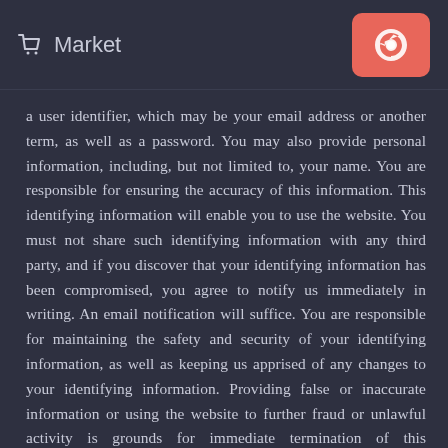Market
a user identifier, which may be your email address or another term, as well as a password. You may also provide personal information, including, but not limited to, your name. You are responsible for ensuring the accuracy of this information. This identifying information will enable you to use the website. You must not share such identifying information with any third party, and if you discover that your identifying information has been compromised, you agree to notify us immediately in writing. An email notification will suffice. You are responsible for maintaining the safety and security of your identifying information, as well as keeping us apprised of any changes to your identifying information. Providing false or inaccurate information or using the website to further fraud or unlawful activity is grounds for immediate termination of this Agreement.